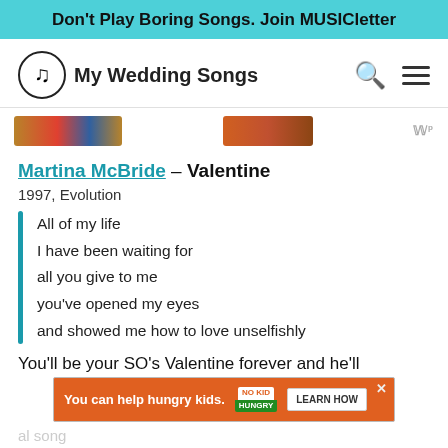Don't Play Boring Songs. Join MUSICletter
My Wedding Songs
[Figure (screenshot): Partial cropped album art images and mp badge]
Martina McBride – Valentine
1997, Evolution
All of my life
I have been waiting for
all you give to me
you've opened my eyes
and showed me how to love unselfishly
You'll be your SO's Valentine forever and he'll
[Figure (screenshot): Advertisement banner: You can help hungry kids. No Kid Hungry. LEARN HOW]